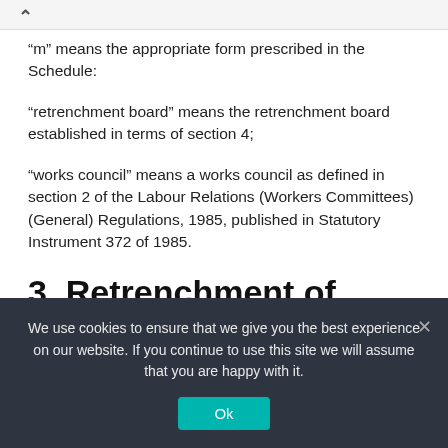“m” means the appropriate form prescribed in the Schedule:
“retrenchment board” means the retrenchment board established in terms of section 4;
“works council” means a works council as defined in section 2 of the Labour Relations (Workers Committees) (General) Regulations, 1985, published in Statutory Instrument 372 of 1985.
3. Retrenchment of employees
We use cookies to ensure that we give you the best experience on our website. If you continue to use this site we will assume that you are happy with it.